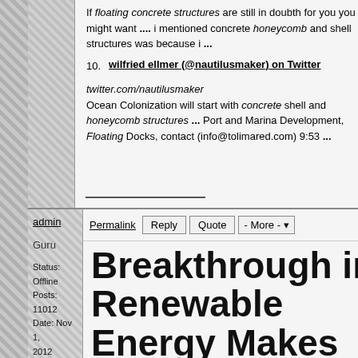If floating concrete structures are still in doubth for you you might want .... i mentioned concrete honeycomb and shell structures was because i ...
10. wilfried ellmer (@nautilusmaker) on Twitter
twitter.com/nautilusmaker
Ocean Colonization will start with concrete shell and honeycomb structures ... Port and Marina Development, Floating Docks, contact (info@tolimared.com) 9:53 ...
admin
Guru
Status: Offline
Posts: 11012
Date: Nov 1, 2012
Permalink  Reply  Quote  - More -
Breakthrough in Renewable Energy Makes Wind Energy More